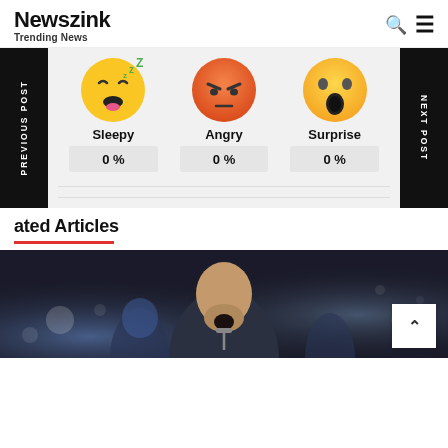Newszink — Trending News
[Figure (illustration): Three emoji reaction icons: Sleepy (yellow face with closed eyes, open mouth, pink tongue, green ZZZ), Angry (orange-red face with furrowed brows and frown), Surprise (yellow face with wide open mouth and surprised eyes). Each labeled with name and 0%]
Sleepy — 0 %
Angry — 0 %
Surprise — 0 %
ated Articles
[Figure (photo): A man singing into a microphone with mouth open wide, bearded, under concert lighting, crowd/performers visible behind him]
PREVIOUS POST
NEXT POST